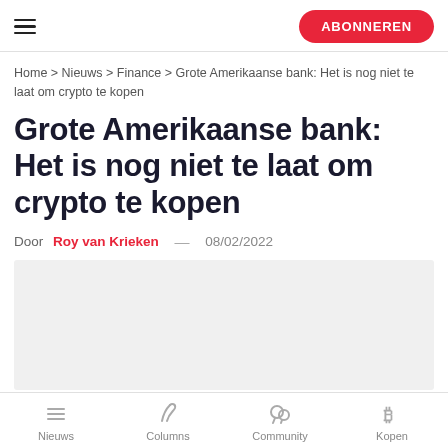ABONNEREN
Home > Nieuws > Finance > Grote Amerikaanse bank: Het is nog niet te laat om crypto te kopen
Grote Amerikaanse bank: Het is nog niet te laat om crypto te kopen
Door Roy van Krieken — 08/02/2022
[Figure (photo): Article header image placeholder (light gray rectangle)]
Nieuws  Columns  Community  Kopen